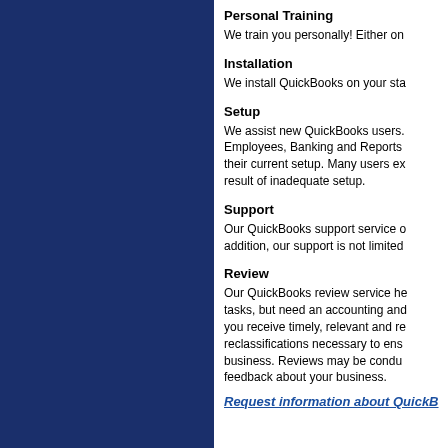[Figure (other): Dark navy blue sidebar panel on the left side of the page]
Personal Training
We train you personally! Either on
Installation
We install QuickBooks on your sta
Setup
We assist new QuickBooks users. Employees, Banking and Reports their current setup. Many users ex result of inadequate setup.
Support
Our QuickBooks support service c addition, our support is not limited
Review
Our QuickBooks review service he tasks, but need an accounting and you receive timely, relevant and re reclassifications necessary to ens business. Reviews may be condu feedback about your business.
Request information about QuickB